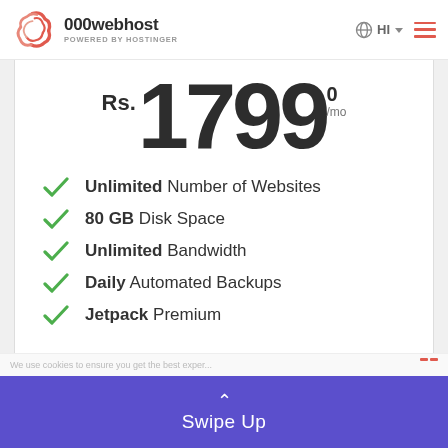000webhost POWERED BY HOSTINGER | HI | menu
Rs. 1799.00 /mo
Unlimited Number of Websites
80 GB Disk Space
Unlimited Bandwidth
Daily Automated Backups
Jetpack Premium
Swipe Up